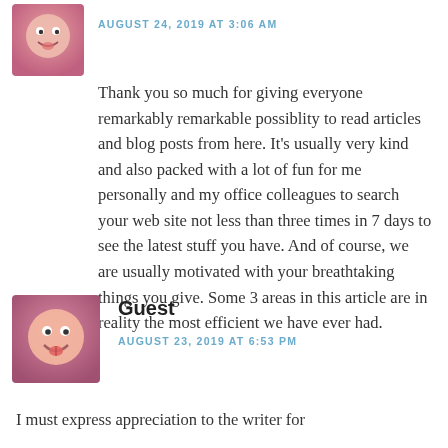[Figure (illustration): Avatar icon showing a cartoon face, purple/pink tones, top-left of first comment]
AUGUST 24, 2019 AT 3:06 AM
Thank you so much for giving everyone remarkably remarkable possiblity to read articles and blog posts from here. It's usually very kind and also packed with a lot of fun for me personally and my office colleagues to search your web site not less than three times in 7 days to see the latest stuff you have. And of course, we are usually motivated with your breathtaking things you give. Some 3 areas in this article are in reality the most efficient we have ever had.
[Figure (illustration): Avatar icon showing a cartoon smiley face with tongue, pink/purple background]
Guest
AUGUST 23, 2019 AT 6:53 PM
I must express appreciation to the writer for